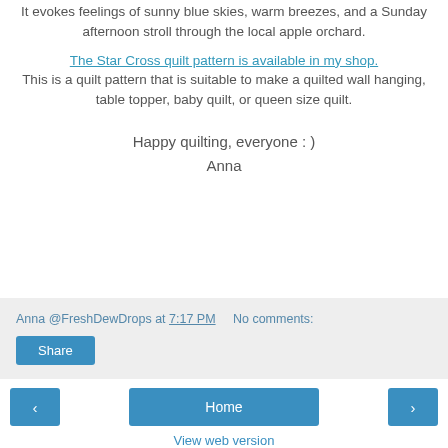It evokes feelings of sunny blue skies, warm breezes, and a Sunday afternoon stroll through the local apple orchard.
The Star Cross quilt pattern is available in my shop. This is a quilt pattern that is suitable to make a quilted wall hanging, table topper, baby quilt, or queen size quilt.
Happy quilting, everyone : )
Anna
Anna @FreshDewDrops at 7:17 PM    No comments:
Share
‹   Home   ›
View web version
Powered by Blogger.